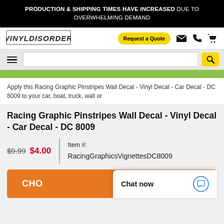PRODUCTION & SHIPPING TIMES HAVE INCREASED DUE TO OVERWHELMING DEMAND
[Figure (logo): VinylDisorder logo in italic bold text with border]
Request a Quote
Apply this Racing Graphic Pinstripes Wall Decal - Vinyl Decal - Car Decal - DC 8009 to your car, boat, truck, wall or
Racing Graphic Pinstripes Wall Decal - Vinyl Decal - Car Decal - DC 8009
$9.99  $4.00  |  Item #: RacingGraphicsVignettesDC8009
CHO
Chat now